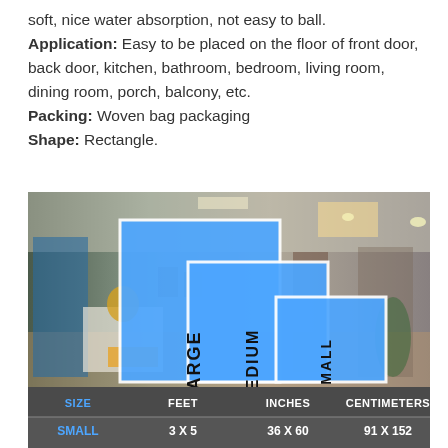soft, nice water absorption, not easy to ball. Application: Easy to be placed on the floor of front door, back door, kitchen, bathroom, bedroom, living room, dining room, porch, balcony, etc. Packing: Woven bag packaging Shape: Rectangle.
[Figure (infographic): Size comparison infographic showing three blue rectangles labeled LARGE, MEDIUM, SMALL against a room background, with a size table below showing SMALL: 3x5 feet, 36x60 inches, 91x152 centimeters]
| SIZE | FEET | INCHES | CENTIMETERS |
| --- | --- | --- | --- |
| SMALL | 3 X 5 | 36 X 60 | 91 X 152 |